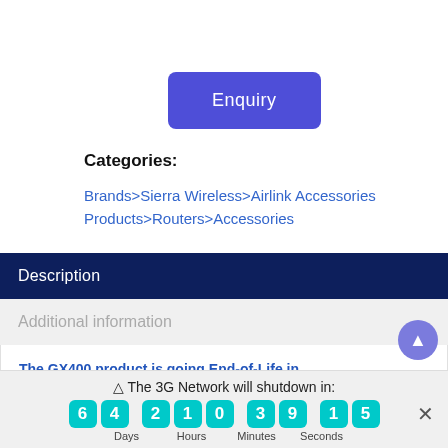Enquiry
Categories:
Brands>Sierra Wireless>Airlink Accessories
Products>Routers>Accessories
Description
Additional information
The GX400 product is going End-of-Life in 2017 — please replace with GX450 | RV50 |...
⚠ The 3G Network will shutdown in:
6 4  2 1 0  3 9  1 5
Days   Hours   Minutes   Seconds